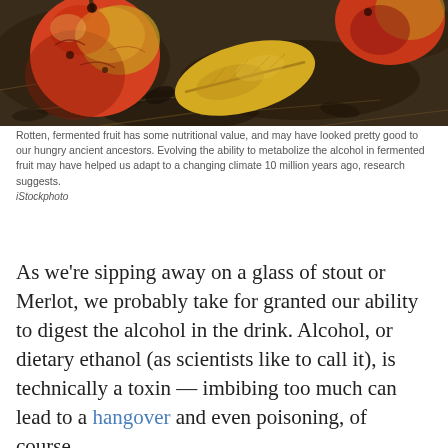[Figure (photo): Overhead photo of rotten, fermented apples and a yellow autumn leaf lying on dark decomposing organic matter and dried leaves.]
Rotten, fermented fruit has some nutritional value, and may have looked pretty good to our hungry ancient ancestors. Evolving the ability to metabolize the alcohol in fermented fruit may have helped us adapt to a changing climate 10 million years ago, research suggests.
iStockphoto
As we're sipping away on a glass of stout or Merlot, we probably take for granted our ability to digest the alcohol in the drink. Alcohol, or dietary ethanol (as scientists like to call it), is technically a toxin — imbibing too much can lead to a hangover and even poisoning, of course.